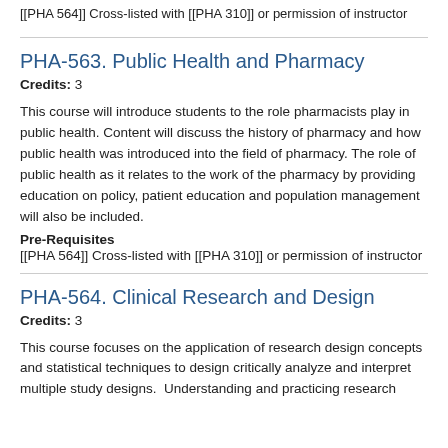[[PHA 564]] Cross-listed with [[PHA 310]] or permission of instructor
PHA-563. Public Health and Pharmacy
Credits: 3
This course will introduce students to the role pharmacists play in public health. Content will discuss the history of pharmacy and how public health was introduced into the field of pharmacy. The role of public health as it relates to the work of the pharmacy by providing education on policy, patient education and population management will also be included.
Pre-Requisites
[[PHA 564]] Cross-listed with [[PHA 310]] or permission of instructor
PHA-564. Clinical Research and Design
Credits: 3
This course focuses on the application of research design concepts and statistical techniques to design critically analyze and interpret multiple study designs.  Understanding and practicing research